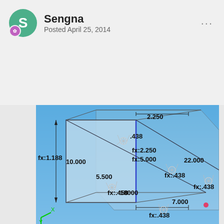Sengna
Posted April 25, 2014
[Figure (engineering-diagram): 3D CAD/engineering diagram showing a structural panel with multiple constraint/attachment points and dimension annotations. Dimensions shown include: fx:1.188, 2.250, .438, fx:2.250, 10.000, fx:5.000, 5.500, 22.000, fx:.438, fx:.438, fx:.458, 18000, 7.000, fx:.438. Various spider/constraint symbols are shown at attachment points on a perspective-view panel with blue gradient background.]